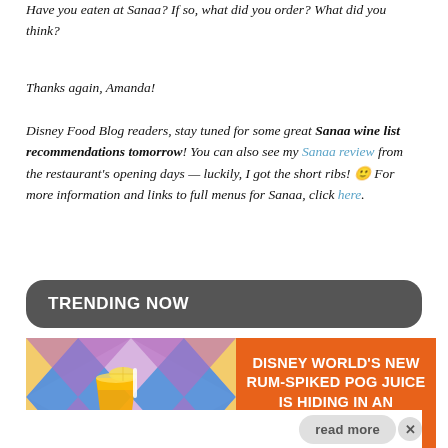Have you eaten at Sanaa? If so, what did you order? What did you think?
Thanks again, Amanda!
Disney Food Blog readers, stay tuned for some great Sanaa wine list recommendations tomorrow! You can also see my Sanaa review from the restaurant's opening days — luckily, I got the short ribs! 🙂 For more information and links to full menus for Sanaa, click here.
TRENDING NOW
[Figure (photo): Photo of an orange tropical drink in a glass with colorful argyle pattern background]
DISNEY WORLD'S NEW RUM-SPIKED POG JUICE IS HIDING IN AN OBSCURE SPOT!